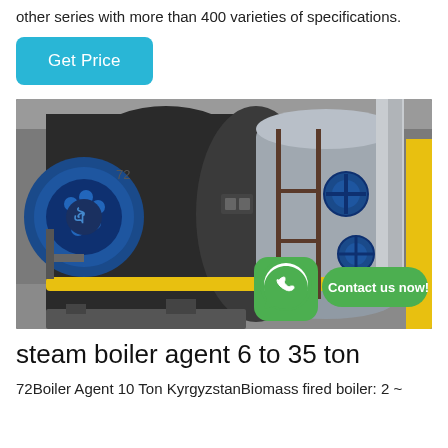other series with more than 400 varieties of specifications.
[Figure (other): Blue and silver industrial steam boiler inside a boiler room, with blue valve assemblies and yellow piping. A WhatsApp icon and 'Contact us now!' button overlaid in the bottom right.]
steam boiler agent 6 to 35 ton
72Boiler Agent 10 Ton KyrgyzstanBiomass fired boiler: 2 ~